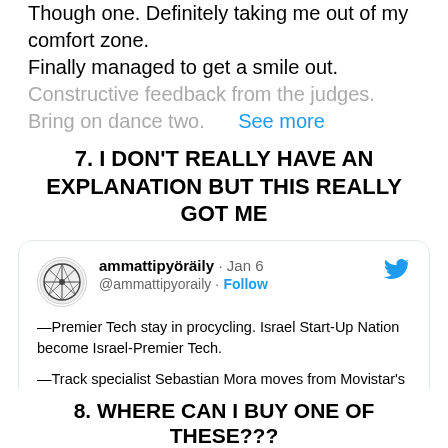Though one. Definitely taking me out of my comfort zone.
Finally managed to get a smile out.
Constructive feedback from the judges. Bring on dance two. See more
7. I DON'T REALLY HAVE AN EXPLANATION BUT THIS REALLY GOT ME
[Figure (screenshot): Embedded tweet from @ammattipyoraily dated Jan 6. Tweet text: —Premier Tech stay in procycling. Israel Start-Up Nation become Israel-Premier Tech. —Track specialist Sebastian Mora moves from Movistar's payroll (← 31/12/2021) to Conti level Manuela Fundacion. —2022 🚴: Cofidis, Intermarche-Wanty (from ... See more]
8. WHERE CAN I BUY ONE OF THESE???